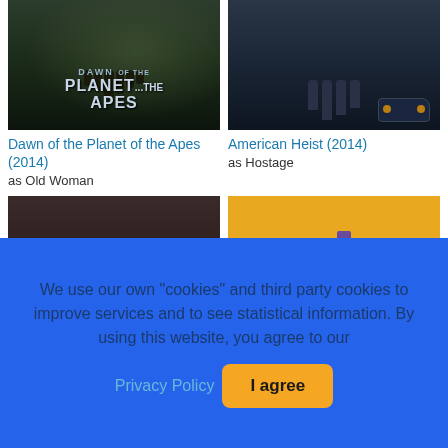[Figure (photo): Movie poster for Dawn of the Planet of the Apes (2014) showing apes in a dark forest setting with the film title text]
[Figure (photo): Movie poster for American Heist (2014) showing armed figures in tactical gear near a vehicle]
Dawn of the Planet of the Apes (2014)
as Old Woman
American Heist (2014)
as Hostage
[Figure (photo): Partially visible movie poster showing comedic scene with actors' faces]
[Figure (photo): Partially visible movie poster with yellow/golden background and purple bar chart elements with italic text overlay]
We use our own "cookies" and third party cookies to improve services and to see statistical information. By using this website, you agree to our Privacy Policy  I agree